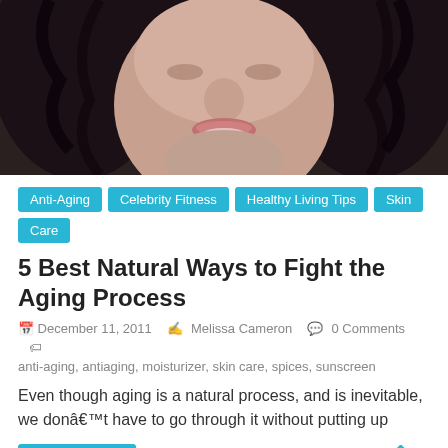[Figure (photo): Close-up photo of a woman's face with dark curly hair, smiling slightly, cropped to show from forehead to chin area]
Anti-Aging
Celebrity Fitness
Healthy Living Tips
Skin Care
5 Best Natural Ways to Fight the Aging Process
December 11, 2011   Melissa Cameron   0 Comments   anti-aging, antiaging, moisturizer, skin care, spices, sunscreen
Even though aging is a natural process, and is inevitable, we donâ€™t have to go through it without putting up